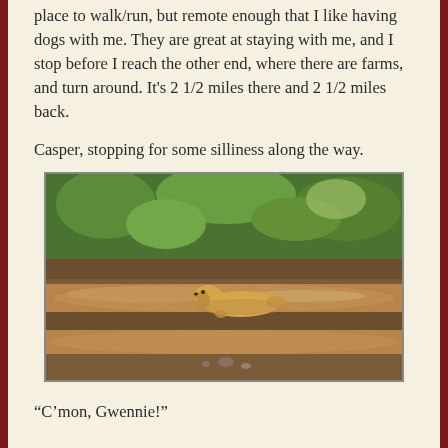place to walk/run, but remote enough that I like having dogs with me. They are great at staying with me, and I stop before I reach the other end, where there are farms, and turn around. It's 2 1/2 miles there and 2 1/2 miles back.
Casper, stopping for some silliness along the way.
[Figure (photo): A yellow Labrador dog lying in a muddy puddle on a dirt road, surrounded by green grass and vegetation in the background.]
“C’mon, Gwennie!”